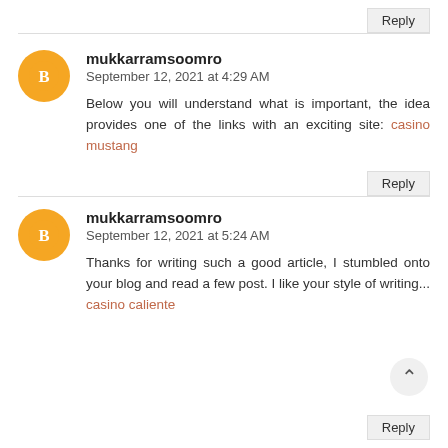Reply
mukkarramsoomro
September 12, 2021 at 4:29 AM
Below you will understand what is important, the idea provides one of the links with an exciting site: casino mustang
Reply
mukkarramsoomro
September 12, 2021 at 5:24 AM
Thanks for writing such a good article, I stumbled onto your blog and read a few post. I like your style of writing... casino caliente
Reply